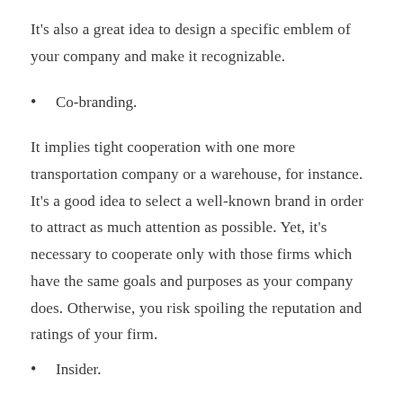It's also a great idea to design a specific emblem of your company and make it recognizable.
Co-branding.
It implies tight cooperation with one more transportation company or a warehouse, for instance. It's a good idea to select a well-known brand in order to attract as much attention as possible. Yet, it's necessary to cooperate only with those firms which have the same goals and purposes as your company does. Otherwise, you risk spoiling the reputation and ratings of your firm.
Insider.
The major goal of this method is access to important marketing channels. Your task is to display your company as a logistics expert not only among your regular clients. You